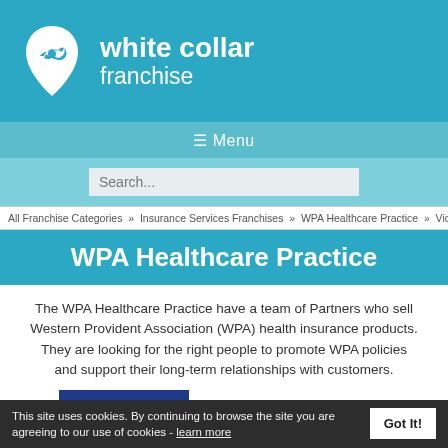[Figure (logo): White Collar Franchise logo with icon and text in teal header]
☰ Menu
Search...
All Franchise Categories » Insurance Services Franchises » WPA Healthcare Practice » Videos
WPA Healthcare Practice
The WPA Healthcare Practice have a team of Partners who sell Western Provident Association (WPA) health insurance products. They are looking for the right people to promote WPA policies and support their long-term relationships with customers.
[Figure (logo): WPA blue box logo and Healthcare text in teal]
This site uses cookies. By continuing to browse the site you are agreeing to our use of cookies - learn more